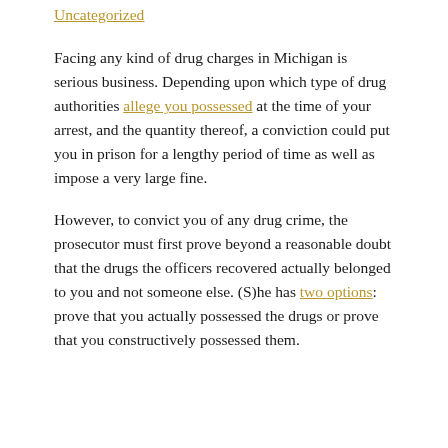Uncategorized
Facing any kind of drug charges in Michigan is serious business. Depending upon which type of drug authorities allege you possessed at the time of your arrest, and the quantity thereof, a conviction could put you in prison for a lengthy period of time as well as impose a very large fine.
However, to convict you of any drug crime, the prosecutor must first prove beyond a reasonable doubt that the drugs the officers recovered actually belonged to you and not someone else. (S)he has two options: prove that you actually possessed the drugs or prove that you constructively possessed them.